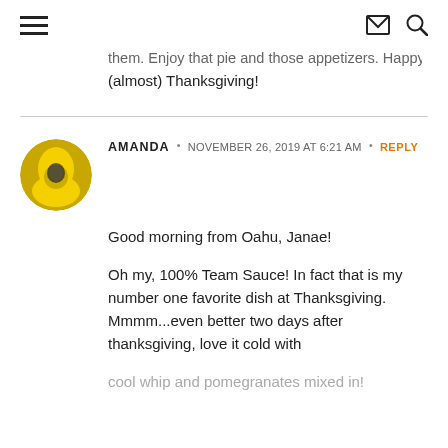≡  ✉ 🔍
them. Enjoy that pie and those appetizers. Happy (almost) Thanksgiving!
AMANDA · NOVEMBER 26, 2019 AT 6:21 AM · REPLY
Good morning from Oahu, Janae!
Oh my, 100% Team Sauce! In fact that is my number one favorite dish at Thanksgiving. Mmmm...even better two days after thanksgiving, love it cold with cool whip and pomegranates mixed in!